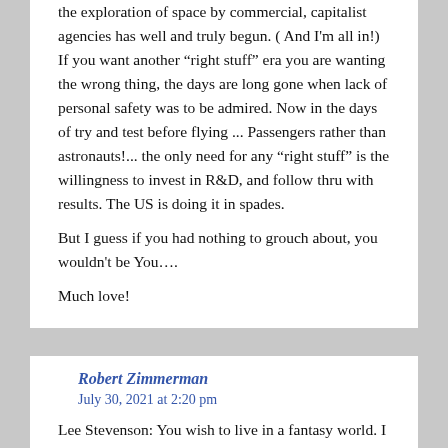the exploration of space by commercial, capitalist agencies has well and truly begun. ( And I'm all in!) If you want another "right stuff" era you are wanting the wrong thing, the days are long gone when lack of personal safety was to be admired. Now in the days of try and test before flying ... Passengers rather than astronauts!... the only need for any "right stuff" is the willingness to invest in R&D, and follow thru with results. The US is doing it in spades.

But I guess if you had nothing to grouch about, you wouldn't be You....

Much love!
Robert Zimmerman
July 30, 2021 at 2:20 pm
Lee Stevenson: You wish to live in a fantasy world. I do